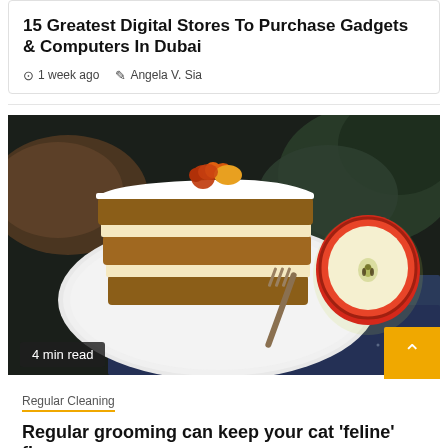15 Greatest Digital Stores To Purchase Gadgets & Computers In Dubai
1 week ago  Angela V. Sia
[Figure (photo): A slice of layered cake with white icing and fruit topping on a plate with a fork, next to a halved red apple, on a dark blue cloth background]
4 min read
Regular Cleaning
Regular grooming can keep your cat 'feline' fine